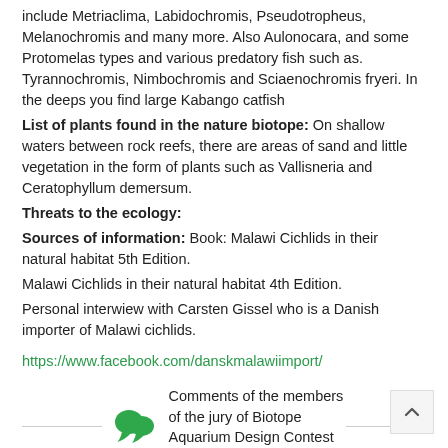include Metriaclima, Labidochromis, Pseudotropheus, Melanochromis and many more. Also Aulonocara, and some Protomelas types and various predatory fish such as. Tyrannochromis, Nimbochromis and Sciaenochromis fryeri. In the deeps you find large Kabango catfish
List of plants found in the nature biotope: On shallow waters between rock reefs, there are areas of sand and little vegetation in the form of plants such as Vallisneria and Ceratophyllum demersum.
Threats to the ecology:
Sources of information: Book: Malawi Cichlids in their natural habitat 5th Edition.
Malawi Cichlids in their natural habitat 4th Edition.
Personal interwiew with Carsten Gissel who is a Danish importer of Malawi cichlids.
https://www.facebook.com/danskmalawiimport/
Comments of the members of the jury of Biotope Aquarium Design Contest 2019